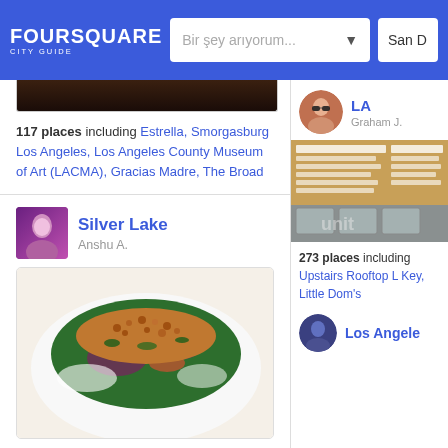FOURSQUARE CITY GUIDE | Bir şey arıyorum... | San D
[Figure (photo): Dark top image strip of a restaurant/food scene]
117 places including Estrella, Smorgasburg Los Angeles, Los Angeles County Museum of Art (LACMA), Gracias Madre, The Broad
[Figure (photo): User avatar for Silver Lake list by Anshu A. - woman with purple hair]
Silver Lake
Anshu A.
[Figure (photo): Food photo showing a colorful grain salad with mixed greens, vegetables, and crunchy toppings on a white plate]
22 places including The Broad, The Thirsty Crow, Vista Theater, Maquina Softserve, Pozzo
[Figure (photo): User avatar for LA guide by Graham J. - person with sunglasses]
LA
Graham J.
[Figure (photo): Restaurant interior showing sandwich/burger menu board on wall and counter display]
273 places including Upstairs Rooftop L Key, Little Dom's
[Figure (photo): User avatar for Los Angeles guide - person in dark clothing]
Los Angeles